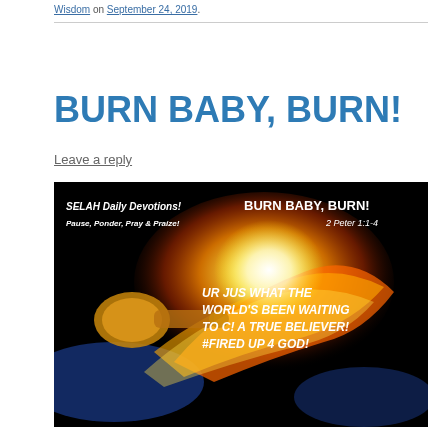Wisdom on September 24, 2019.
BURN BABY, BURN!
Leave a reply
[Figure (illustration): Devotional image with dark background, fiery trumpet graphic, and text: SELAH Daily Devotions! BURN BABY, BURN! Pause, Ponder, Pray & Praize! 2 Peter 1:1-4. UR JUS WHAT THE WORLD'S BEEN WAITING TO C! A TRUE BELIEVER! #FIRED UP 4 GOD!]